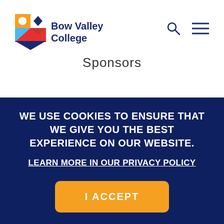[Figure (logo): Bow Valley College logo with colorful shield icon and dark blue text]
Sponsors
WE USE COOKIES TO ENSURE THAT WE GIVE YOU THE BEST EXPERIENCE ON OUR WEBSITE. LEARN MORE IN OUR PRIVACY POLICY
I ACCEPT